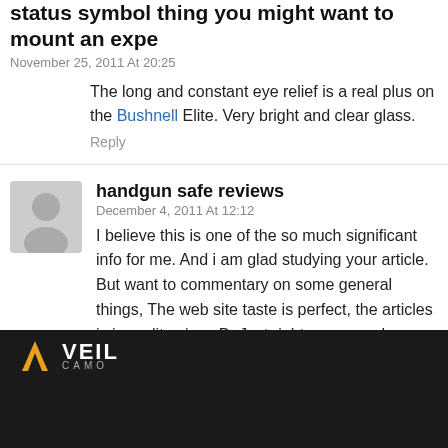status symbol thing you might want to mount an expe
November 25, 2011 At 20:25
The long and constant eye relief is a real plus on the Bushnell Elite. Very bright and clear glass.
Reply
handgun safe reviews
December 4, 2011 At 12:12
I believe this is one of the so much significant info for me. And i am glad studying your article. But want to commentary on some general things, The web site taste is perfect, the articles is in reality nice : D. Just right process, cheers
Reply
[Figure (photo): VEIL CAMO advertisement banner with logo and SHRED text over camouflage background]